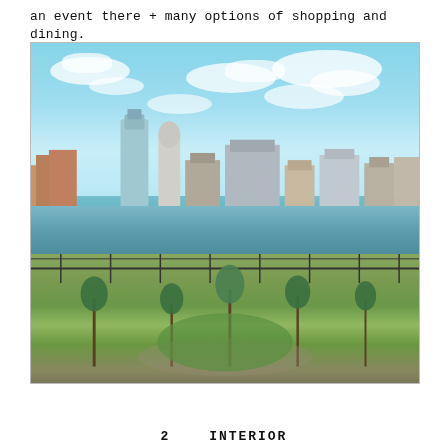an event there + many options of shopping and dining.
[Figure (photo): Aerial/elevated view of a riverside urban area with a park in the foreground featuring green landscaping and young trees, sports courts with fencing, a wide river in the middle ground, and a modern city skyline with tall residential and commercial towers under a partly cloudy blue sky.]
2    INTERIOR